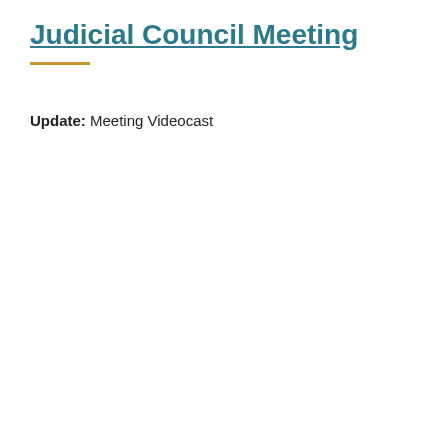Judicial Council Meeting
Update: Meeting Videocast